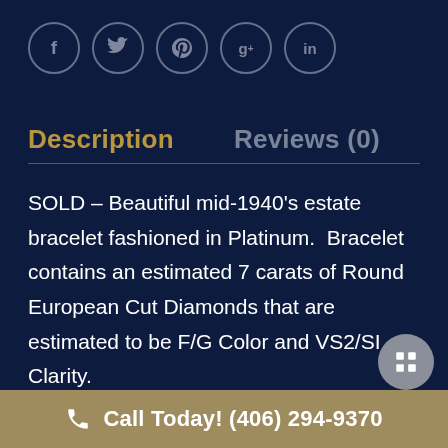[Figure (other): Social media icon buttons in circles: Facebook (f), Twitter (bird), Pinterest (p), Google+ (g+), LinkedIn (in)]
Description
Reviews (0)
SOLD – Beautiful mid-1940's estate bracelet fashioned in Platinum.  Bracelet contains an estimated 7 carats of Round European Cut Diamonds that are estimated to be F/G Color and VS2/SI Clarity.
Call Today! (406) 294-9370